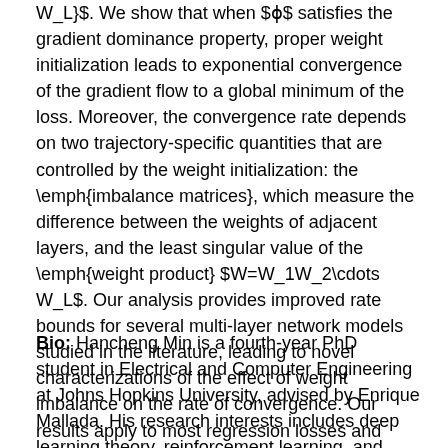W_L}$. We show that when $\phi$ satisfies the gradient dominance property, proper weight initialization leads to exponential convergence of the gradient flow to a global minimum of the loss. Moreover, the convergence rate depends on two trajectory-specific quantities that are controlled by the weight initialization: the \emph{imbalance matrices}, which measure the difference between the weights of adjacent layers, and the least singular value of the \emph{weight product} $W=W_1W_2\cdots W_L$. Our analysis provides improved rate bounds for several multi-layer network models studied in the literature, leading to novel characterizations of the effect of weight imbalance on the rate of convergence. Our results apply to most regression losses and extend to classification ones.
Bio: Hancheng Min is a fourth-year PhD student in Electrical and Computer Engineering at Johns Hopkins University, advised by Enrique Mallada. His research interests includes deep learning theory, reinforcement learning, and control theory, among others.